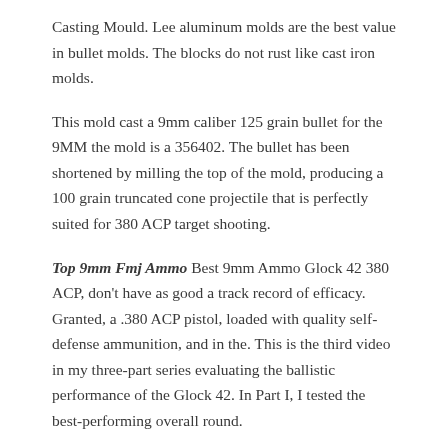Casting Mould. Lee aluminum molds are the best value in bullet molds. The blocks do not rust like cast iron molds.
This mold cast a 9mm caliber 125 grain bullet for the 9MM the mold is a 356402. The bullet has been shortened by milling the top of the mold, producing a 100 grain truncated cone projectile that is perfectly suited for 380 ACP target shooting.
Top 9mm Fmj Ammo Best 9mm Ammo Glock 42 380 ACP, don't have as good a track record of efficacy. Granted, a .380 ACP pistol, loaded with quality self-defense ammunition, and in the. This is the third video in my three-part series evaluating the ballistic performance of the Glock 42. In Part I, I tested the best-performing overall round.